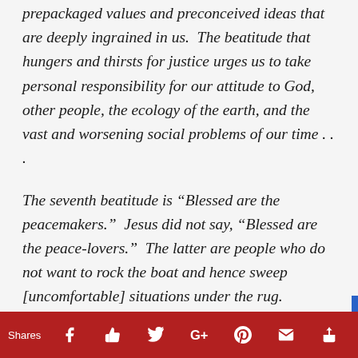prepackaged values and preconceived ideas that are deeply ingrained in us.  The beatitude that hungers and thirsts for justice urges us to take personal responsibility for our attitude to God, other people, the ecology of the earth, and the vast and worsening social problems of our time . . .
The seventh beatitude is “Blessed are the peacemakers.”  Jesus did not say, “Blessed are the peace-lovers.”  The latter are people who do not want to rock the boat and hence sweep [uncomfortable] situations under the rug.  Capitalistic systems are [made
Shares